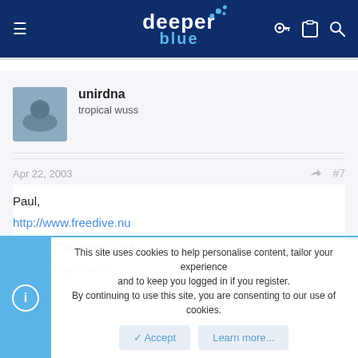[Figure (logo): DeeperBlue website header with logo, hamburger menu, and icons]
unirdna
tropical wuss
Apr 22, 2003
#7
Paul,
http://www.freedive.nu
click on the Union Jack
click on "sponsors"
This site uses cookies to help personalise content, tailor your experience and to keep you logged in if you register.
By continuing to use this site, you are consenting to our use of cookies.